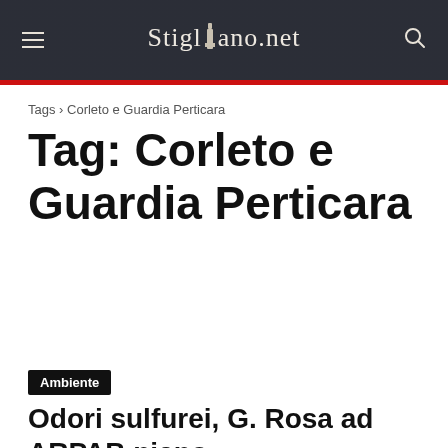Stigliano.net
Tags › Corleto e Guardia Perticara
Tag: Corleto e Guardia Perticara
Ambiente
Odori sulfurei, G. Rosa ad ARPAB piano